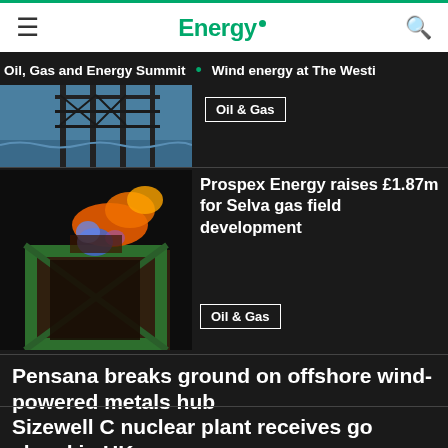Energy
Oil, Gas and Energy Summit • Wind energy at The Westi
[Figure (photo): Partial image of offshore oil platform structure visible at top, partially cropped]
Oil & Gas
[Figure (photo): Industrial gas flaring structure with orange and blue flames against dark background]
Prospex Energy raises £1.87m for Selva gas field development
Oil & Gas
Pensana breaks ground on offshore wind-powered metals hub
Sizewell C nuclear plant receives go ahead in UK